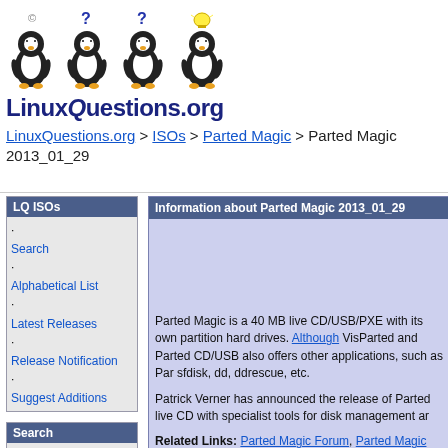[Figure (logo): LinuxQuestions.org logo with four Linux penguins each with different symbols above them (question mark circle, two question marks, lightbulb) and the text LinuxQuestions.org in dark blue bold font below]
LinuxQuestions.org > ISOs > Parted Magic > Parted Magic 2013_01_29
LQ ISOs
· Search
· Alphabetical List
· Latest Releases
· Release Notification
· Suggest Additions
Search
Information about Parted Magic 2013_01_29
Parted Magic is a 40 MB live CD/USB/PXE with its own partition hard drives. Although VisParted and Parted CD/USB also offers other applications, such as Par sfdisk, dd, ddrescue, etc.
Patrick Verner has announced the release of Parted live CD with specialist tools for disk management ar
Related Links: Parted Magic Forum, Parted Magic Screencasts, Official website
Need Help?